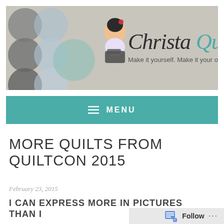[Figure (illustration): ChristaQuilts blog banner with decorative circles in grey and blue tones, cartoon quilter figure, and logo text 'ChristaQuilts' with tagline 'Make it yourself. Make it your own.']
≡  MENU
MORE QUILTS FROM QUILTCON 2015
February 23, 2015
I CAN EXPRESS MORE IN PICTURES THAN I
Follow  ...